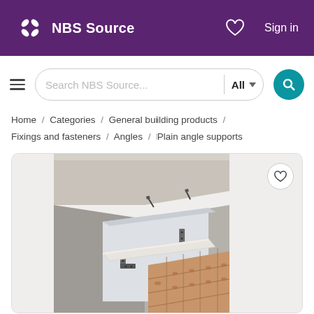NBS Source
Search NBS Source...  All
Home / Categories / General building products / Fixings and fasteners / Angles / Plain angle supports
[Figure (engineering-diagram): Technical illustration of plain angle supports / fixings mounted on a wall, showing metal angle brackets supporting stone or concrete cladding panels over a brick wall substrate]